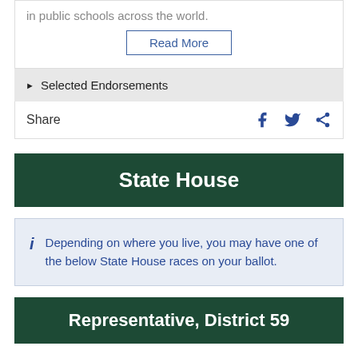in public schools across the world.
Read More
▶ Selected Endorsements
Share
State House
Depending on where you live, you may have one of the below State House races on your ballot.
Representative, District 59